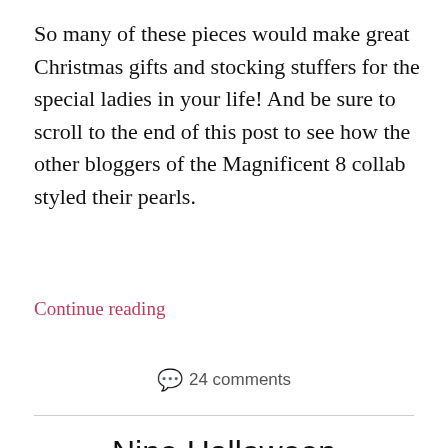So many of these pieces would make great Christmas gifts and stocking stuffers for the special ladies in your life! And be sure to scroll to the end of this post to see how the other bloggers of the Magnificent 8 collab styled their pearls.
Continue reading
💬 24 comments
Nine Halloween Costume Ideas